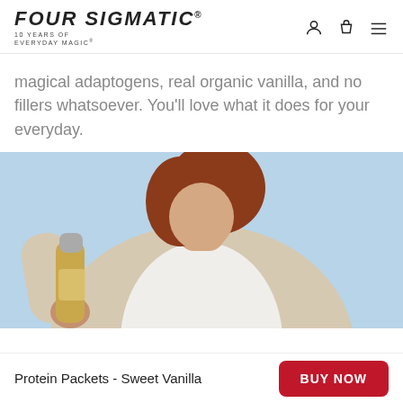FOUR SIGMATIC® — 10 YEARS OF EVERYDAY MAGIC®
magical adaptogens, real organic vanilla, and no fillers whatsoever. You'll love what it does for your everyday.
[Figure (photo): Woman with auburn hair wearing a white shirt and beige cardigan, holding a gold shaker bottle, standing against a light blue background.]
Protein Packets - Sweet Vanilla
BUY NOW